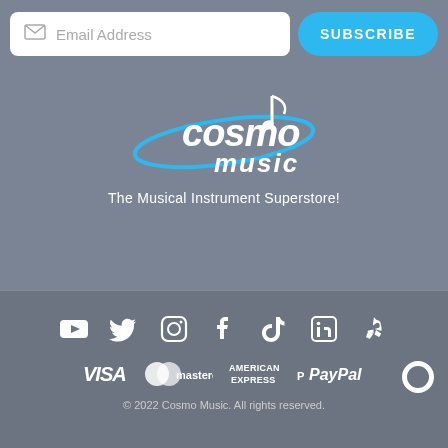Email Address
SUBSCRIBE
[Figure (logo): Cosmo Music logo with blue orbital ring and musical note]
The Musical Instrument Superstore!
[Figure (infographic): Social media icons: YouTube, Twitter, Instagram, Facebook, TikTok, LinkedIn, Yelp]
[Figure (infographic): Payment logos: VISA, Mastercard, American Express, PayPal]
© 2022 Cosmo Music. All rights reserved.